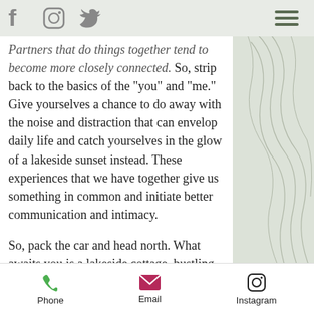Haliburton Highlands. [social icons: Facebook, Instagram, Twitter] [hamburger menu]
Partners that do things together tend to become more closely connected. So, strip back to the basics of the “you” and “me.” Give yourselves a chance to do away with the noise and distraction that can envelop daily life and catch yourselves in the glow of a lakeside sunset instead. These experiences that we have together give us something in common and initiate better communication and intimacy.
So, pack the car and head north. What awaits you is a lakeside cottage, bustling with nature, with endless
Phone   Email   Instagram